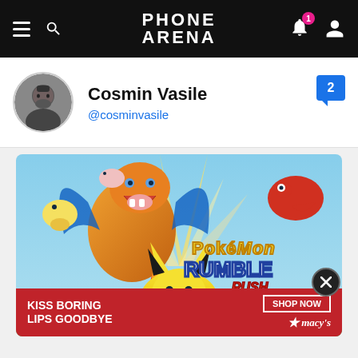PHONE ARENA
Cosmin Vasile
@cosminvasile
[Figure (screenshot): Pokemon Rumble Rush game promotional artwork featuring Charizard, Pikachu and various Pokemon characters against a blue sky background]
[Figure (photo): Advertisement banner: KISS BORING LIPS GOODBYE with SHOP NOW button and Macy's star logo]